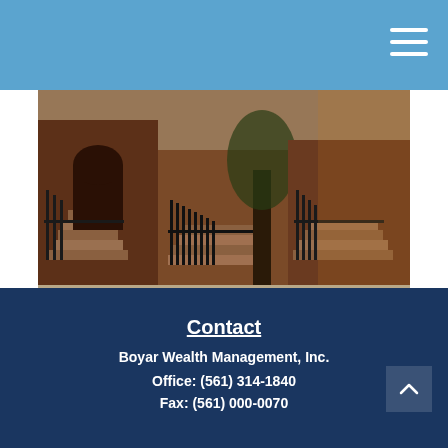[Figure (photo): Brownstone building exterior with ornate iron railings and staircases, street view photograph]
Home Mortgage Deduction
Use this calculator to assess the potential benefits of a home mortgage deduction.
Contact
Boyar Wealth Management, Inc.
Office: (561) 314-1840
Fax: (561) 000-0070